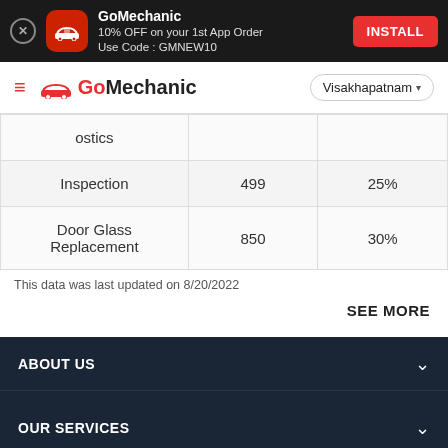[Figure (screenshot): GoMechanic app install banner: red app icon with car silhouette, text '10% OFF on your 1st App Order Use Code: GMNEW10', and red INSTALL button on dark background]
[Figure (logo): GoMechanic navigation bar with hamburger menu, red car logo, GoMechanic brand name, and Visakhapatnam city selector]
| Service | Price | Discount |
| --- | --- | --- |
| ostics |  |  |
| Inspection | 499 | 25% |
| Door Glass Replacement | 850 | 30% |
This data was last updated on 8/20/2022
SEE MORE
ABOUT US
OUR SERVICES